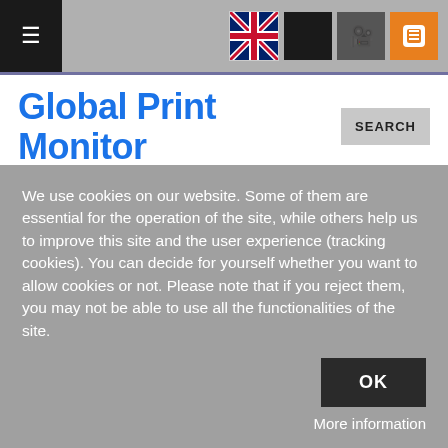≡  [flag icon] [black square] [camera icon] [RSS icon]
Global Print Monitor
PRINT & PACKAGING NEWS, COMMENT & ANALYSIS
Identification made easy: Kosovo opts for third number plate
Parent Category: Industry News   Category: Labels   Published: 26 May 2022
We use cookies on our website. Some of them are essential for the operation of the site, while others help us to improve this site and the user experience (tracking cookies). You can decide for yourself whether you want to allow cookies or not. Please note that if you reject them, you may not be able to use all the functionalities of the site.